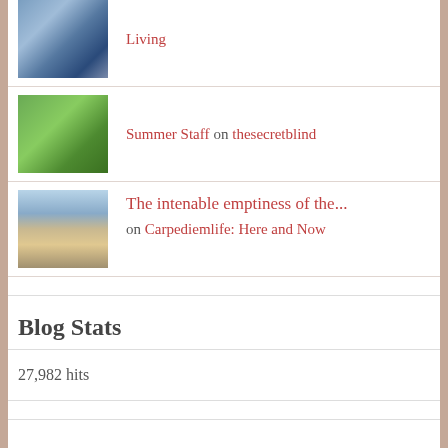[Figure (photo): Thumbnail image with blue/purple tones]
Living
[Figure (photo): Thumbnail image with green outdoor tones]
Summer Staff on thesecretblind
[Figure (photo): Thumbnail image with beach/outdoor tones]
The intenable emptiness of the... on Carpediemlife: Here and Now
Blog Stats
27,982 hits
awareness  blogs  consciousness  creativity  emotions  focus  Freedom  gratitude  haiku  health